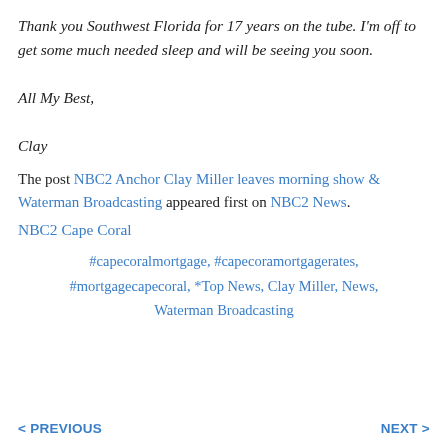Thank you Southwest Florida for 17 years on the tube. I'm off to get some much needed sleep and will be seeing you soon.

All My Best,

Clay
The post NBC2 Anchor Clay Miller leaves morning show & Waterman Broadcasting appeared first on NBC2 News.
NBC2 Cape Coral
#capecoralmortgage, #capecoramortgagerates, #mortgagecapecoral, *Top News, Clay Miller, News, Waterman Broadcasting
< PREVIOUS   NEXT >